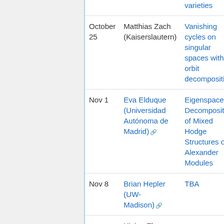| Date | Speaker | Title |
| --- | --- | --- |
|  |  | varieties |
| October 25 | Matthias Zach (Kaiserslautern) | Vanishing cycles on singular spaces with orbit decomposition |
| Nov 1 | Eva Elduque (Universidad Autónoma de Madrid) | Eigenspace Decomposition of Mixed Hodge Structures on Alexander Modules |
| Nov 8 | Brian Hepler (UW-Madison) | TBA |
|  | Xiping Zhang |  |